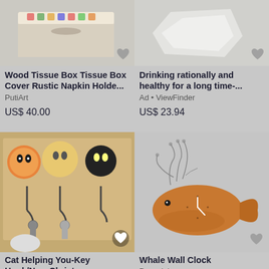[Figure (photo): Wood tissue box with floral pattern on top]
Wood Tissue Box Tissue Box Cover Rustic Napkin Holde...
PutiArt
US$ 40.00
[Figure (photo): White abstract shape on light background]
Drinking rationally and healthy for a long time-...
Ad • ViewFinder
US$ 23.94
[Figure (photo): Key hook board with cute cat face designs and keys hanging]
Cat Helping You-Key Hook/New Christmas...
catscomtw
[Figure (photo): Wooden whale-shaped wall clock with clock hands]
Whale Wall Clock
Decoylab